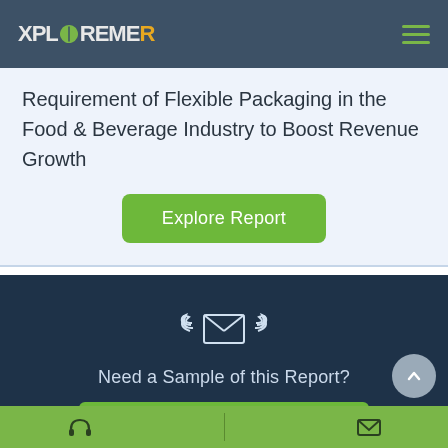XploreMR
Requirement of Flexible Packaging in the Food & Beverage Industry to Boost Revenue Growth
Explore Report
Need a Sample of this Report?
Get a Free Sample